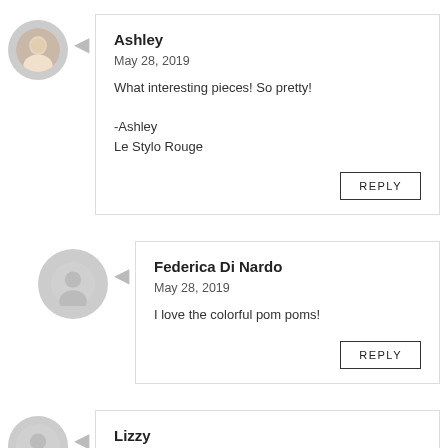Ashley
May 28, 2019
What interesting pieces! So pretty!

-Ashley
Le Stylo Rouge
REPLY
Federica Di Nardo
May 28, 2019
I love the colorful pom poms!
REPLY
Lizzy
May 28, 2019